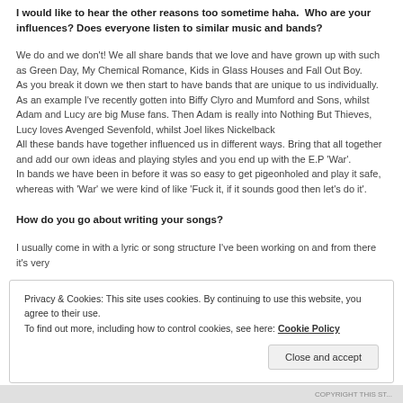I would like to hear the other reasons too sometime haha. Who are your influences? Does everyone listen to similar music and bands?
We do and we don't! We all share bands that we love and have grown up with such as Green Day, My Chemical Romance, Kids in Glass Houses and Fall Out Boy.
As you break it down we then start to have bands that are unique to us individually. As an example I've recently gotten into Biffy Clyro and Mumford and Sons, whilst Adam and Lucy are big Muse fans. Then Adam is really into Nothing But Thieves, Lucy loves Avenged Sevenfold, whilst Joel likes Nickelback
All these bands have together influenced us in different ways. Bring that all together and add our own ideas and playing styles and you end up with the E.P 'War'.
In bands we have been in before it was so easy to get pigeonholed and play it safe, whereas with 'War' we were kind of like 'Fuck it, if it sounds good then let's do it'.
How do you go about writing your songs?
I usually come in with a lyric or song structure I've been working on and from there it's very
Privacy & Cookies: This site uses cookies. By continuing to use this website, you agree to their use.
To find out more, including how to control cookies, see here: Cookie Policy
Close and accept